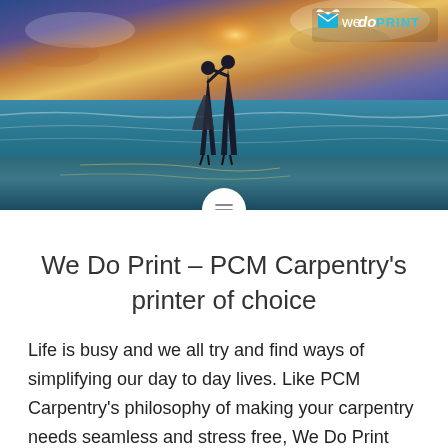[Figure (photo): Hero image of a couple walking on a beach at sunset with ocean waves, with the WeDoPrint logo overlaid in the top right corner. A circular scroll button appears at the bottom center.]
We Do Print – PCM Carpentry's printer of choice
Life is busy and we all try and find ways of simplifying our day to day lives. Like PCM Carpentry's philosophy of making your carpentry needs seamless and stress free, We Do Print simplifies the printing process, making it seamless